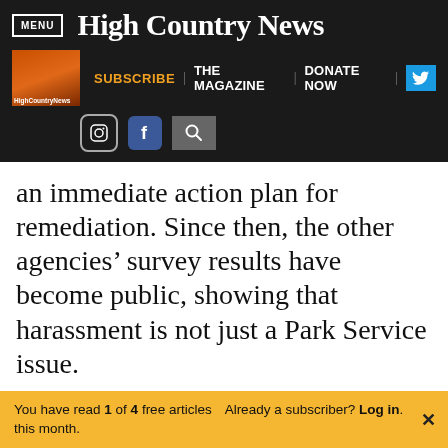MENU | High Country News | SUBSCRIBE | THE MAGAZINE | DONATE NOW
an immediate action plan for remediation. Since then, the other agencies’ survey results have become public, showing that harassment is not just a Park Service issue.
You have read 1 of 4 free articles this month. Already a subscriber? Log in.
Support independent journalism. Subscribe